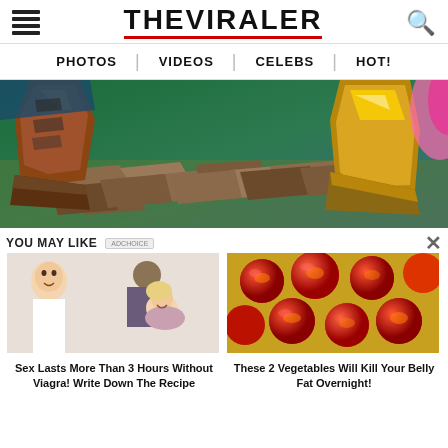THE VIRALER
PHOTOS | VIDEOS | CELEBS | HOT!
[Figure (illustration): Comic book style illustration showing two characters' boots/feet standing on broken rubble and debris on a green ground]
YOU MAY LIKE
[Figure (illustration): Illustration of a doctor and a couple, advertisement image]
Sex Lasts More Than 3 Hours Without Viagra! Write Down The Recipe
[Figure (photo): Photo of roasted/cooked cherry tomatoes]
These 2 Vegetables Will Kill Your Belly Fat Overnight!